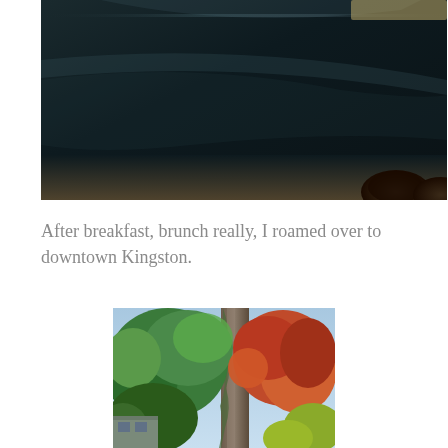[Figure (photo): Dark interior photo showing a glossy black surface, likely a car dashboard or table top, with a bright light reflection at the top right and two circular objects (possibly cups or lenses) at the bottom right. Warm wooden/beige tone visible at the bottom edge.]
After breakfast, brunch really, I roamed over to downtown Kingston.
[Figure (photo): Outdoor photo of autumn trees with colorful foliage — green, red, and orange leaves — and a tall tree trunk covered in vines. A building corner is partially visible at the bottom left.]